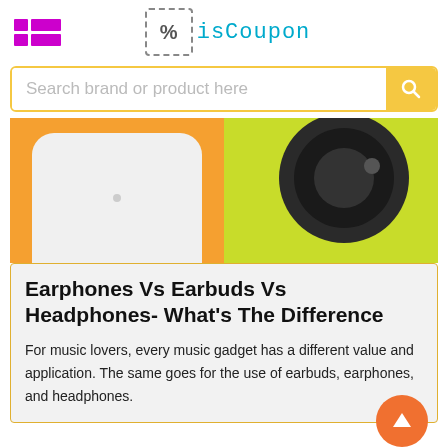isCoupon
[Figure (screenshot): Search bar with placeholder text 'Search brand or product here' and yellow search button]
[Figure (photo): Product banner showing white earbuds case on orange background (left) and black over-ear headphones on yellow-green background (right)]
Earphones Vs Earbuds Vs Headphones- What's The Difference
For music lovers, every music gadget has a different value and application. The same goes for the use of earbuds, earphones, and headphones.
How To Get Windsor Store Promo Code?
You may not know people who are well-off, and